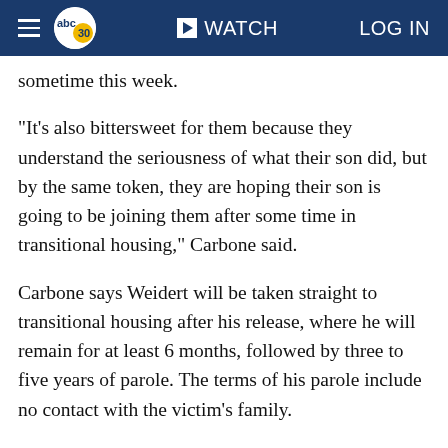abc30 WATCH LOG IN
sometime this week.
"It's also bittersweet for them because they understand the seriousness of what their son did, but by the same token, they are hoping their son is going to be joining them after some time in transitional housing," Carbone said.
Carbone says Weidert will be taken straight to transitional housing after his release, where he will remain for at least 6 months, followed by three to five years of parole. The terms of his parole include no contact with the victim's family.
Still, Morganti's sister says it'll be hard to sleep at